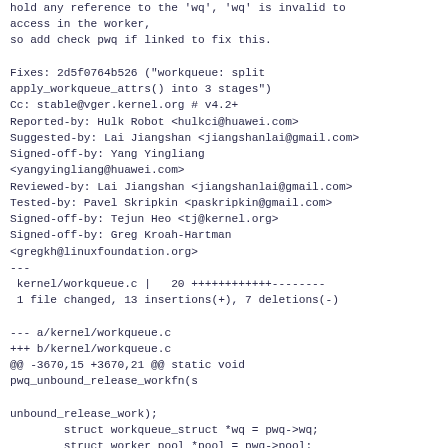hold any reference to the 'wq', 'wq' is invalid to access in the worker,
so add check pwq if linked to fix this.

Fixes: 2d5f0764b526 ("workqueue: split apply_workqueue_attrs() into 3 stages")
Cc: stable@vger.kernel.org # v4.2+
Reported-by: Hulk Robot <hulkci@huawei.com>
Suggested-by: Lai Jiangshan <jiangshanlai@gmail.com>
Signed-off-by: Yang Yingliang <yangyingliang@huawei.com>
Reviewed-by: Lai Jiangshan <jiangshanlai@gmail.com>
Tested-by: Pavel Skripkin <paskripkin@gmail.com>
Signed-off-by: Tejun Heo <tj@kernel.org>
Signed-off-by: Greg Kroah-Hartman <gregkh@linuxfoundation.org>
---
 kernel/workqueue.c |   20 ++++++++++++--------
 1 file changed, 13 insertions(+), 7 deletions(-)

--- a/kernel/workqueue.c
+++ b/kernel/workqueue.c
@@ -3670,15 +3670,21 @@ static void pwq_unbound_release_workfn(s

unbound_release_work);
        struct workqueue_struct *wq = pwq->wq;
        struct worker_pool *pool = pwq->pool;
-       bool is_last;
+       bool is_last = false;